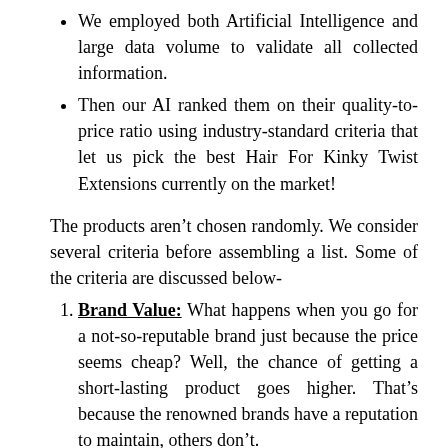We employed both Artificial Intelligence and large data volume to validate all collected information.
Then our AI ranked them on their quality-to-price ratio using industry-standard criteria that let us pick the best Hair For Kinky Twist Extensions currently on the market!
The products aren't chosen randomly. We consider several criteria before assembling a list. Some of the criteria are discussed below-
Brand Value: What happens when you go for a not-so-reputable brand just because the price seems cheap? Well, the chance of getting a short-lasting product goes higher. That's because the renowned brands have a reputation to maintain, others don't.